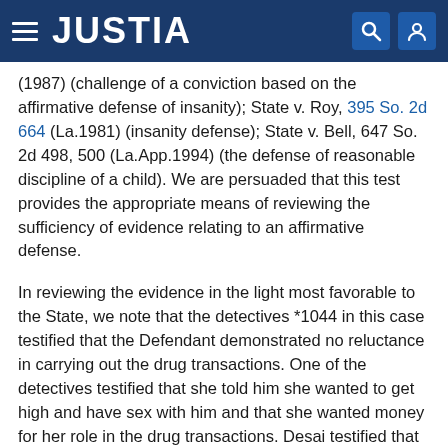JUSTIA
(1987) (challenge of a conviction based on the affirmative defense of insanity); State v. Roy, 395 So. 2d 664 (La.1981) (insanity defense); State v. Bell, 647 So. 2d 498, 500 (La.App.1994) (the defense of reasonable discipline of a child). We are persuaded that this test provides the appropriate means of reviewing the sufficiency of evidence relating to an affirmative defense.
In reviewing the evidence in the light most favorable to the State, we note that the detectives *1044 in this case testified that the Defendant demonstrated no reluctance in carrying out the drug transactions. One of the detectives testified that she told him she wanted to get high and have sex with him and that she wanted money for her role in the drug transactions. Desai testified that the Defendant had offered to buy the